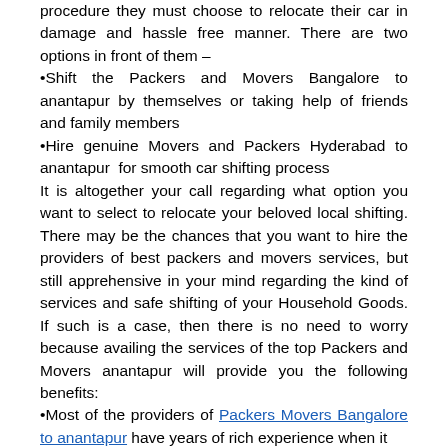procedure they must choose to relocate their car in damage and hassle free manner. There are two options in front of them –
Shift the Packers and Movers Bangalore to anantapur by themselves or taking help of friends and family members
Hire genuine Movers and Packers Hyderabad to anantapur  for smooth car shifting process
It is altogether your call regarding what option you want to select to relocate your beloved local shifting. There may be the chances that you want to hire the providers of best packers and movers services, but still apprehensive in your mind regarding the kind of services and safe shifting of your Household Goods. If such is a case, then there is no need to worry because availing the services of the top Packers and Movers anantapur will provide you the following benefits:
Most of the providers of Packers Movers Bangalore to anantapur have years of rich experience when it